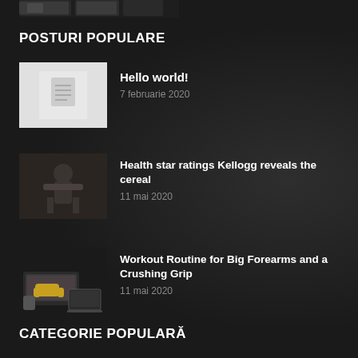[Figure (photo): Partial photo visible at top of page - appears to be logos or images cropped]
POSTURI POPULARE
Hello world! — 7 februarie 2020
Health star ratings Kellogg reveals the cereal — 11 mai 2020
Workout Routine for Big Forearms and a Crushing Grip — 11 mai 2020
CATEGORIE POPULARĂ